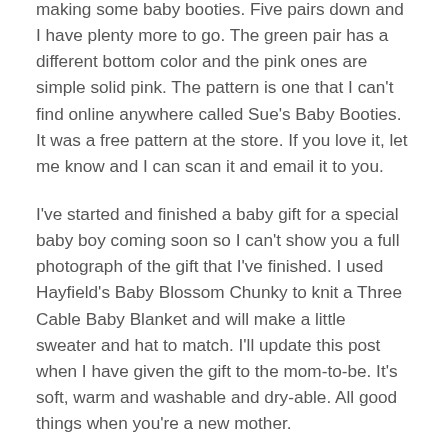making some baby booties. Five pairs down and I have plenty more to go. The green pair has a different bottom color and the pink ones are simple solid pink. The pattern is one that I can't find online anywhere called Sue's Baby Booties. It was a free pattern at the store. If you love it, let me know and I can scan it and email it to you.
I've started and finished a baby gift for a special baby boy coming soon so I can't show you a full photograph of the gift that I've finished. I used Hayfield's Baby Blossom Chunky to knit a Three Cable Baby Blanket and will make a little sweater and hat to match. I'll update this post when I have given the gift to the mom-to-be. It's soft, warm and washable and dry-able. All good things when you're a new mother.
I've finished the first of my September socks from our 2020 Sock Challenge. This is another stashed yarn, one that I collected when we learned that there wasn't going to be a US distributor for this wonderful Raggi yarn. (There is a distributor now, thank heavens!) Raggi is a worsted/aran weight wool and nylon blend so it's perfect for knitting